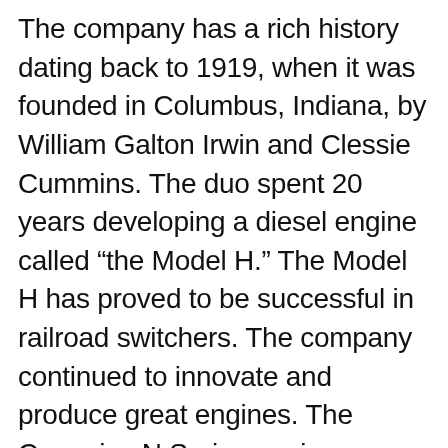The company has a rich history dating back to 1919, when it was founded in Columbus, Indiana, by William Galton Irwin and Clessie Cummins. The duo spent 20 years developing a diesel engine called “the Model H.” The Model H has proved to be successful in railroad switchers. The company continued to innovate and produce great engines. The Cummins N Series engines became the industry leader after World War II and the road-building boom that followed. Cummins engines were used in heavy-duty trucks. Today, they are continuing to develop alternate power sources for engines by expanding their engine lineup to hydrogen and electric motors. Currently, Cummins engines are used in school buses, transit buses, light commercial vehicles, medium-duty trucks, trains, off-highway applications, and boats, among other things.